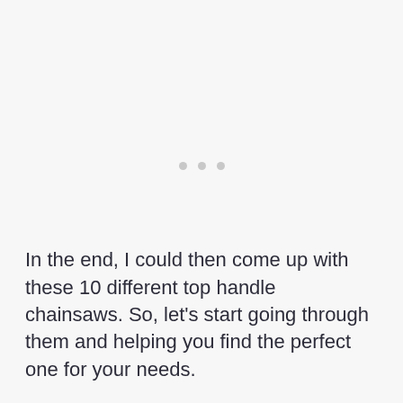[Figure (other): Three small light gray dots arranged horizontally, centered on the page, likely a loading indicator or section divider.]
In the end, I could then come up with these 10 different top handle chainsaws. So, let’s start going through them and helping you find the perfect one for your needs.